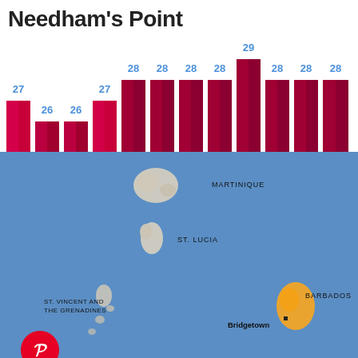Needham's Point
[Figure (bar-chart): Needham's Point monthly temperatures]
[Figure (map): Map showing Barbados and surrounding Caribbean islands including Martinique, St. Lucia, St. Vincent and the Grenadines. Barbados is highlighted in orange with Bridgetown marked.]